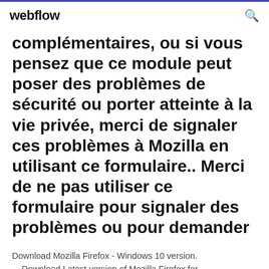webflow
complémentaires, ou si vous pensez que ce module peut poser des problèmes de sécurité ou porter atteinte à la vie privée, merci de signaler ces problèmes à Mozilla en utilisant ce formulaire.. Merci de ne pas utiliser ce formulaire pour signaler des problèmes ou pour demander
Download Mozilla Firefox - Windows 10 version. ... Download Latest version of Mozilla Firefox for